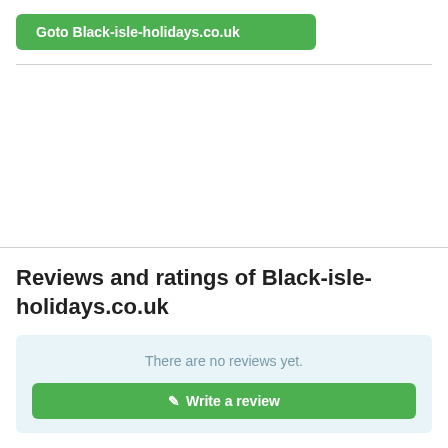Goto Black-isle-holidays.co.uk
Reviews and ratings of Black-isle-holidays.co.uk
There are no reviews yet.
Write a review